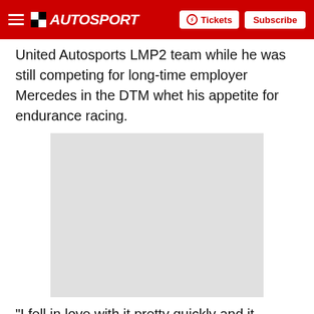AUTOSPORT | Tickets | Subscribe
United Autosports LMP2 team while he was still competing for long-time employer Mercedes in the DTM whet his appetite for endurance racing.
[Figure (photo): Placeholder image, light grey rectangle]
"I fell in love with it pretty quickly and it opened a completely new door," said the 34-year-old, whose